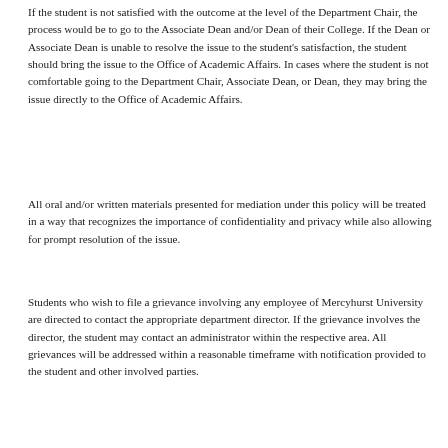If the student is not satisfied with the outcome at the level of the Department Chair, the process would be to go to the Associate Dean and/or Dean of their College. If the Dean or Associate Dean is unable to resolve the issue to the student's satisfaction, the student should bring the issue to the Office of Academic Affairs. In cases where the student is not comfortable going to the Department Chair, Associate Dean, or Dean, they may bring the issue directly to the Office of Academic Affairs.
All oral and/or written materials presented for mediation under this policy will be treated in a way that recognizes the importance of confidentiality and privacy while also allowing for prompt resolution of the issue.
Students who wish to file a grievance involving any employee of Mercyhurst University are directed to contact the appropriate department director. If the grievance involves the director, the student may contact an administrator within the respective area. All grievances will be addressed within a reasonable timeframe with notification provided to the student and other involved parties.